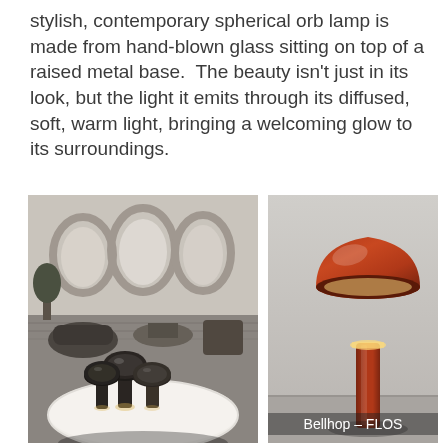stylish, contemporary spherical orb lamp is made from hand-blown glass sitting on top of a raised metal base.  The beauty isn't just in its look, but the light it emits through its diffused, soft, warm light, bringing a welcoming glow to its surroundings.
[Figure (photo): Left photo: outdoor lounge space with arched stone architecture, dark furniture, and three glossy black mushroom-shaped Bellhop lamps on a round white table in the foreground.]
[Figure (photo): Right photo: single rust/terracotta-red Bellhop lamp by FLOS on a light grey background, showing mushroom dome shade on cylindrical stem with warm glow at base of shade.]
Bellhop – FLOS